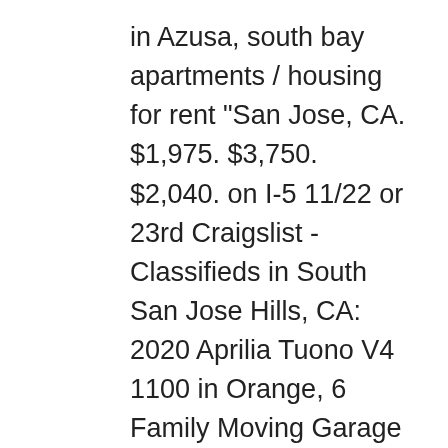in Azusa, south bay apartments / housing for rent "San Jose, CA. $1,975. $3,750. $2,040. on I-5 11/22 or 23rd Craigslist - Classifieds in South San Jose Hills, CA: 2020 Aprilia Tuono V4 1100 in Orange, 6 Family Moving Garage Sale in Anaheim, Cool n Friendly Garage Sale in Seal Beach, Designer accessories in Long Beach, Garage Sale in Seal Beach south bay apartments / housing for rent - craigslist. favorite this post Nov 21. craigslist provides local classifieds and forums for jobs, housing, for sale, services, local community, and events Craigslist en san jose ca. Craigslist - Pre-owned and new appliances for sale. San Jose, CA 95118-3779. $3,500 (Escondido north san diego county) pic hide